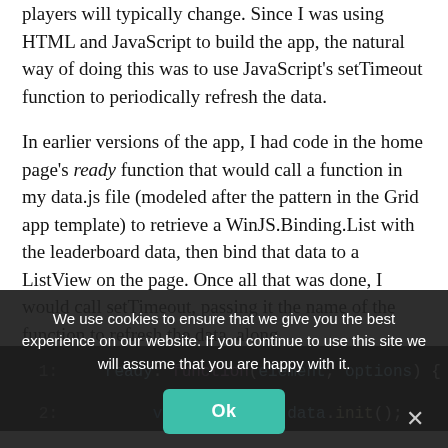players will typically change. Since I was using HTML and JavaScript to build the app, the natural way of doing this was to use JavaScript's setTimeout function to periodically refresh the data.
In earlier versions of the app, I had code in the home page's ready function that would call a function in my data.js file (modeled after the pattern in the Grid app template) to retrieve a WinJS.Binding.List with the leaderboard data, then bind that data to a ListView on the page. Once all that was done, I would call setTimeout, passing it the name of the function to refresh the data, along with the timeout duration. Something like this:
We use cookies to ensure that we give you the best experience on our website. If you continue to use this site we will assume that you are happy with it.
1:   ready: function(element, options) {
2:        var promise = data.init();